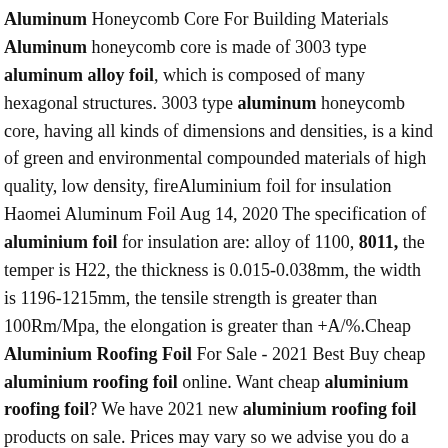Aluminum Honeycomb Core For Building Materials Aluminum honeycomb core is made of 3003 type aluminum alloy foil, which is composed of many hexagonal structures. 3003 type aluminum honeycomb core, having all kinds of dimensions and densities, is a kind of green and environmental compounded materials of high quality, low density, fireAluminium foil for insulation Haomei Aluminum Foil Aug 14, 2020 The specification of aluminium foil for insulation are: alloy of 1100, 8011, the temper is H22, the thickness is 0.015-0.038mm, the width is 1196-1215mm, the tensile strength is greater than 100Rm/Mpa, the elongation is greater than +A/%.Cheap Aluminium Roofing Foil For Sale - 2021 Best Buy cheap aluminium roofing foil online. Want cheap aluminium roofing foil? We have 2021 new aluminium roofing foil products on sale. Prices may vary so we advise you do a search for Aluminum Price, Aluminum Sheet Price, Aluminium Sheet Price for comparison shopping before you place an order, then you can get high quality & low price Aluminum, Aluminum Sheet, Aluminium